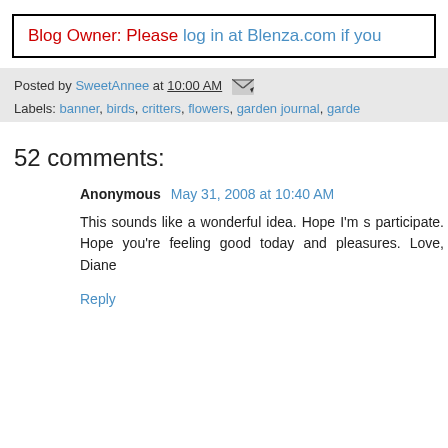Blog Owner: Please log in at Blenza.com if you
Posted by SweetAnnee at 10:00 AM
Labels: banner, birds, critters, flowers, garden journal, garde
52 comments:
Anonymous May 31, 2008 at 10:40 AM
This sounds like a wonderful idea. Hope I'm s participate. Hope you're feeling good today and pleasures. Love, Diane
Reply